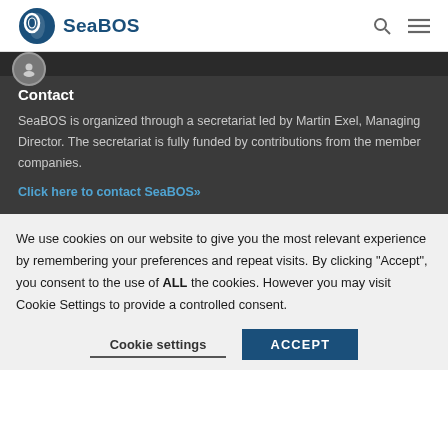SeaBOS
Contact
SeaBOS is organized through a secretariat led by Martin Exel, Managing Director. The secretariat is fully funded by contributions from the member companies.
Click here to contact SeaBOS»
We use cookies on our website to give you the most relevant experience by remembering your preferences and repeat visits. By clicking "Accept", you consent to the use of ALL the cookies. However you may visit Cookie Settings to provide a controlled consent.
Cookie settings   ACCEPT